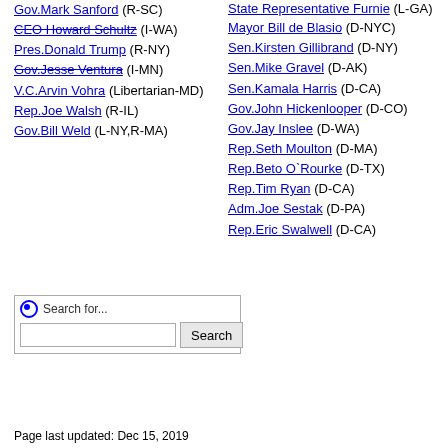Gov.Mark Sanford (R-SC)
CEO Howard Schultz (I-WA)
Pres.Donald Trump (R-NY)
Gov.Jesse Ventura (I-MN)
V.C.Arvin Vohra (Libertarian-MD)
Rep.Joe Walsh (R-IL)
Gov.Bill Weld (L-NY,R-MA)
State Representative Furnie (L-GA)
Mayor Bill de Blasio (D-NYC)
Sen.Kirsten Gillibrand (D-NY)
Sen.Mike Gravel (D-AK)
Sen.Kamala Harris (D-CA)
Gov.John Hickenlooper (D-CO)
Gov.Jay Inslee (D-WA)
Rep.Seth Moulton (D-MA)
Rep.Beto O`Rourke (D-TX)
Rep.Tim Ryan (D-CA)
Adm.Joe Sestak (D-PA)
Rep.Eric Swalwell (D-CA)
Search for...
Page last updated: Dec 15, 2019